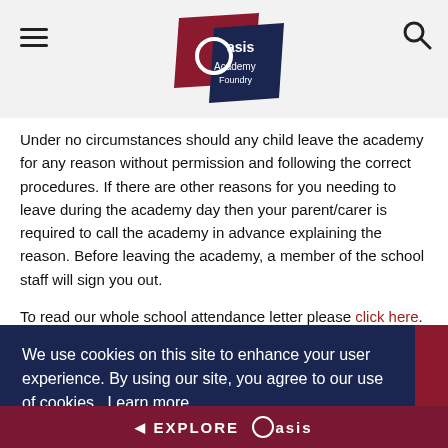[Figure (logo): Oasis Academy Foundry logo — overlapping maroon and navy geometric shapes with white text]
Under no circumstances should any child leave the academy for any reason without permission and following the correct procedures. If there are other reasons for you needing to leave during the academy day then your parent/carer is required to call the academy in advance explaining the reason. Before leaving the academy, a member of the school staff will sign you out.
To read our whole school attendance letter please click here.
We use cookies on this site to enhance your user experience. By using our site, you agree to our use of cookies. Learn more
◄ EXPLORE Oasis